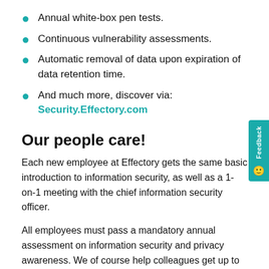Annual white-box pen tests.
Continuous vulnerability assessments.
Automatic removal of data upon expiration of data retention time.
And much more, discover via: Security.Effectory.com
Our people care!
Each new employee at Effectory gets the same basic introduction to information security, as well as a 1-on-1 meeting with the chief information security officer.
All employees must pass a mandatory annual assessment on information security and privacy awareness. We of course help colleagues get up to speed on the aspects and details they need to revise.
Specific roles which are more likely to deal with